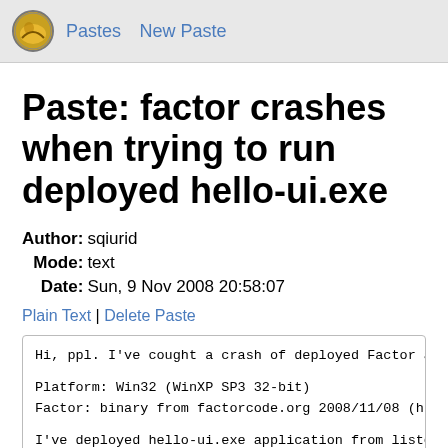Pastes  New Paste
Paste: factor crashes when trying to run deployed hello-ui.exe
| Author: | sqiurid |
| Mode: | text |
| Date: | Sun, 9 Nov 2008 20:58:07 |
Plain Text | Delete Paste
Hi, ppl. I've cought a crash of deployed Factor app

Platform: Win32 (WinXP SP3 32-bit)
Factor: binary from factorcode.org 2008/11/08 (http

I've deployed hello-ui.exe application from listene
When I run it from console or double-clicking .exe